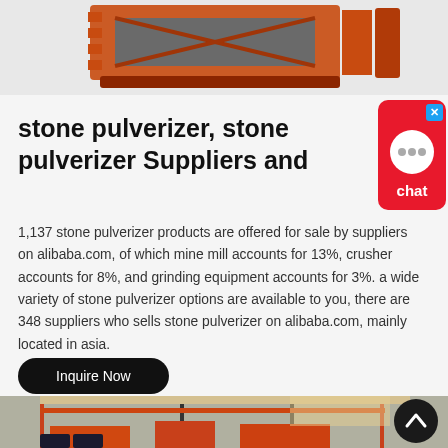[Figure (photo): Orange industrial stone pulverizer machine on a light background]
stone pulverizer, stone pulverizer Suppliers and
[Figure (illustration): Red chat widget with speech bubble dots and 'chat' label, with blue X close button]
1,137 stone pulverizer products are offered for sale by suppliers on alibaba.com, of which mine mill accounts for 13%, crusher accounts for 8%, and grinding equipment accounts for 3%. a wide variety of stone pulverizer options are available to you, there are 348 suppliers who sells stone pulverizer on alibaba.com, mainly located in asia.
[Figure (photo): Industrial factory interior with overhead cranes and orange machinery, multiple panels shown]
[Figure (illustration): Dark circular scroll-to-top button with upward chevron arrow]